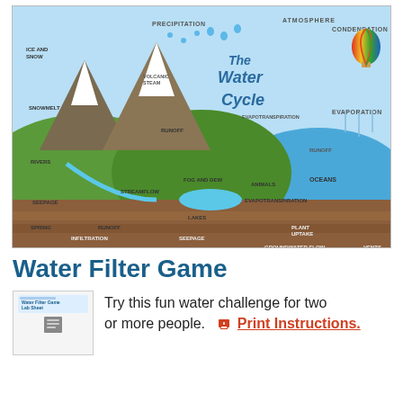[Figure (infographic): Illustrated diagram of The Water Cycle showing precipitation, condensation, evaporation, evapotranspiration, runoff, rivers, streamflow, seepage, springs, lakes, infiltration, recharge, groundwater storage, groundwater flow, plant uptake, oceans, atmosphere, volcanic steam, ice and snow, snowmelt, fog and dew, animals, and vents. Features cartoon water droplet characters throughout a landscape with mountains, hills, ocean, and underground layers.]
Water Filter Game
[Figure (illustration): Small thumbnail image of a Water Filter Game Lab Sheet document]
Try this fun water challenge for two or more people.  Print Instructions.